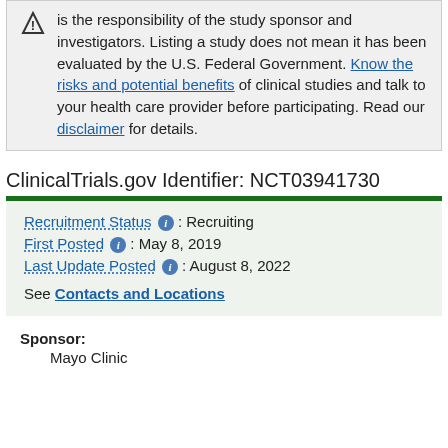is the responsibility of the study sponsor and investigators. Listing a study does not mean it has been evaluated by the U.S. Federal Government. Know the risks and potential benefits of clinical studies and talk to your health care provider before participating. Read our disclaimer for details.
ClinicalTrials.gov Identifier: NCT03941730
Recruitment Status ⓘ : Recruiting
First Posted ⓘ : May 8, 2019
Last Update Posted ⓘ : August 8, 2022
See Contacts and Locations
Sponsor:
Mayo Clinic